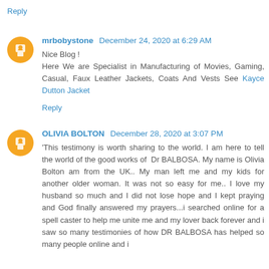Reply
mrbobystone  December 24, 2020 at 6:29 AM
Nice Blog !
Here We are Specialist in Manufacturing of Movies, Gaming, Casual, Faux Leather Jackets, Coats And Vests See Kayce Dutton Jacket
Reply
OLIVIA BOLTON  December 28, 2020 at 3:07 PM
'This testimony is worth sharing to the world. I am here to tell the world of the good works of  Dr BALBOSA. My name is Olivia Bolton am from the UK.. My man left me and my kids for another older woman. It was not so easy for me.. I love my husband so much and I did not lose hope and I kept praying and God finally answered my prayers...i searched online for a spell caster to help me unite me and my lover back forever and i saw so many testimonies of how DR BALBOSA has helped so many people online and i